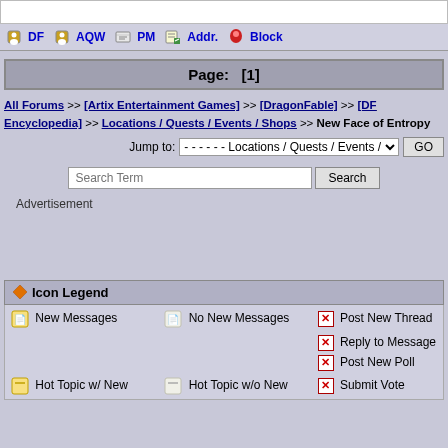DF  AQW  PM  Addr.  Block
Page:  [1]
All Forums >> [Artix Entertainment Games] >> [DragonFable] >> [DF Encyclopedia] >> Locations / Quests / Events / Shops >> New Face of Entropy
Jump to: - - - - - - Locations / Quests / Events / Shops  GO
Search Term  Search
Advertisement
Icon Legend
New Messages   No New Messages   Post New Thread
Reply to Message
Post New Poll
Submit Vote
Hot Topic w/ New   Hot Topic w/o New